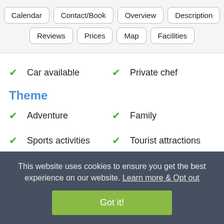Calendar | Contact/Book | Overview | Description | Reviews | Prices | Map | Facilities
✔ Car available
✔ Private chef
Theme
✔ Adventure
✔ Family
✔ Sports activities
✔ Tourist attractions
This website uses cookies to ensure you get the best experience on our website. Learn more & Opt out
Got it!